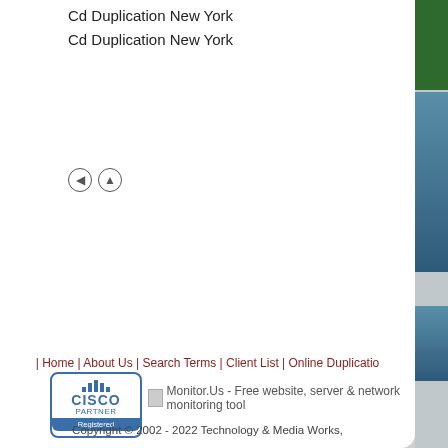Cd Duplication New York
Cd Duplication New York
[Figure (other): Navigation arrow icons (back and up)]
| Home | About Us | Search Terms | Client List | Online Duplication
[Figure (logo): Cisco Partner Registered logo]
Monitor.Us - Free website, server & network monitoring tool
Copyright © 2002 - 2022 Technology & Media Works,